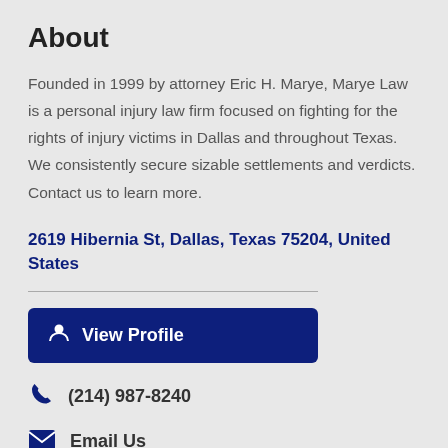About
Founded in 1999 by attorney Eric H. Marye, Marye Law is a personal injury law firm focused on fighting for the rights of injury victims in Dallas and throughout Texas. We consistently secure sizable settlements and verdicts. Contact us to learn more.
2619 Hibernia St, Dallas, Texas 75204, United States
View Profile
(214) 987-8240
Email Us